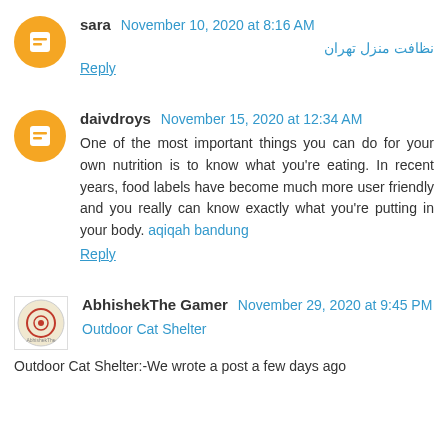sara November 10, 2020 at 8:16 AM
نظافت منزل تهران
Reply
daivdroys November 15, 2020 at 12:34 AM
One of the most important things you can do for your own nutrition is to know what you're eating. In recent years, food labels have become much more user friendly and you really can know exactly what you're putting in your body. aqiqah bandung
Reply
AbhishekThe Gamer November 29, 2020 at 9:45 PM
Outdoor Cat Shelter
Outdoor Cat Shelter:-We wrote a post a few days ago